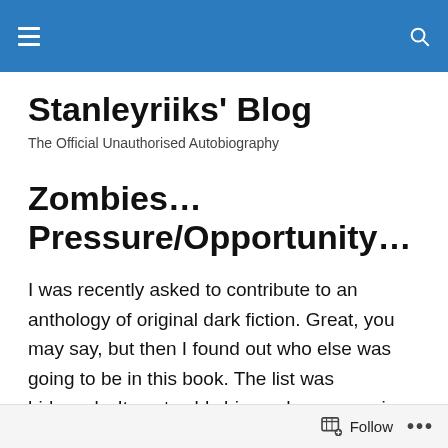Stanleyriiks' Blog — navigation header bar
Stanleyriiks' Blog
The Official Unauthorised Autobiography
Zombies… Pressure/Opportunity…
I was recently asked to contribute to an anthology of original dark fiction. Great, you may say, but then I found out who else was going to be in this book. The list was hideously. It sent cold shivers down my spine and made me feel a little nauseous. Two of my favourite writers were
Follow ...